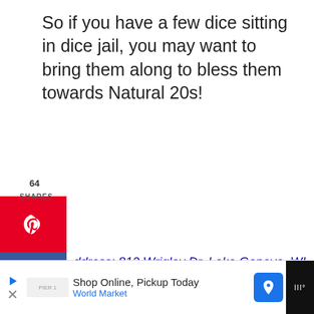So if you have a few dice sitting in dice jail, you may want to bring them along to bless them towards Natural 20s!
64 SHARES
ddress: 812 Wrigley Dr, Lake Geneva, WI 3147, United States
5. Studio Winery + Geneva Lake istilling
[Figure (photo): Photo of winery bottles and distilling equipment]
Shop Online, Pickup Today World Market